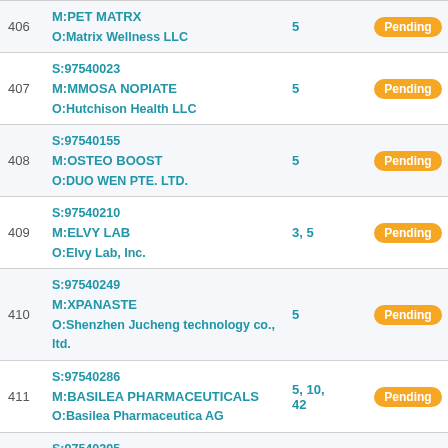| # | Details | Class | Status |
| --- | --- | --- | --- |
| 406 | M:PET MATRX
O:Matrix Wellness LLC | 5 | Pending |
| 407 | S:97540023
M:MMOSA NOPIATE
O:Hutchison Health LLC | 5 | Pending |
| 408 | S:97540155
M:OSTEO BOOST
O:DUO WEN PTE. LTD. | 5 | Pending |
| 409 | S:97540210
M:ELVY LAB
O:Elvy Lab, Inc. | 3, 5 | Pending |
| 410 | S:97540249
M:XPANASTE
O:Shenzhen Jucheng technology co., ltd. | 5 | Pending |
| 411 | S:97540286
M:BASILEA PHARMACEUTICALS
O:Basilea Pharmaceutica AG | 5, 10, 42 | Pending |
| 412 | S:97540295
M:JYOUKI
O:Infinutra Healthcare Inc | 5 | Pending |